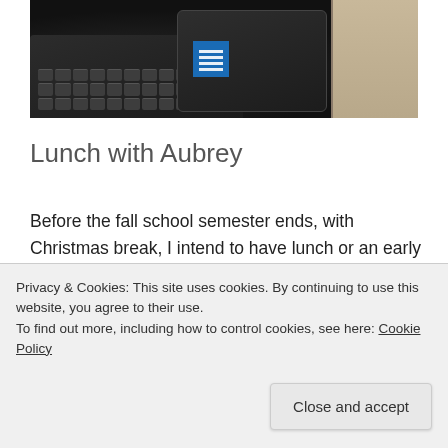[Figure (photo): Overhead view of a dark laptop keyboard with a smartphone on top showing a blue QR code sticker, and a spiral notebook visible at the right edge, all on a desk surface.]
Lunch with Aubrey
Before the fall school semester ends, with Christmas break, I intend to have lunch or an early dinner with each of my grandkids. I began with granddaughter Aubrey today.
Privacy & Cookies: This site uses cookies. By continuing to use this website, you agree to their use.
To find out more, including how to control cookies, see here: Cookie Policy